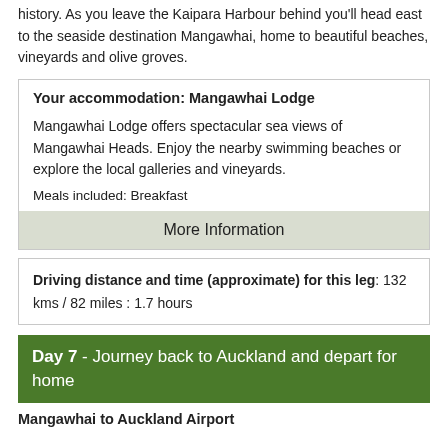history. As you leave the Kaipara Harbour behind you'll head east to the seaside destination Mangawhai, home to beautiful beaches, vineyards and olive groves.
| Your accommodation: Mangawhai Lodge |
| Mangawhai Lodge offers spectacular sea views of Mangawhai Heads. Enjoy the nearby swimming beaches or explore the local galleries and vineyards. |
| Meals included: Breakfast |
| More Information |
Driving distance and time (approximate) for this leg: 132 kms / 82 miles : 1.7 hours
Day 7 - Journey back to Auckland and depart for home
Mangawhai to Auckland Airport